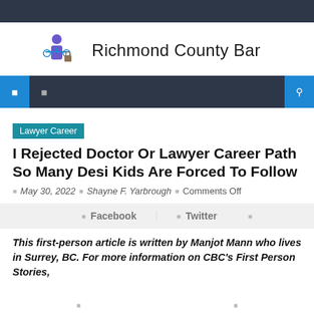[Figure (logo): Richmond County Bar logo with scales of justice and person icon]
Richmond County Bar
Lawyer Career
I Rejected Doctor Or Lawyer Career Path So Many Desi Kids Are Forced To Follow
May 30, 2022  Shayne F. Yarbrough  Comments Off
Facebook  Twitter
This first-person article is written by Manjot Mann who lives in Surrey, BC. For more information on CBC's First Person Stories,